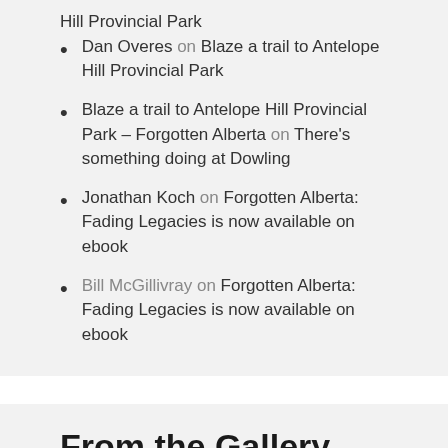Hill Provincial Park
Dan Overes on Blaze a trail to Antelope Hill Provincial Park
Blaze a trail to Antelope Hill Provincial Park – Forgotten Alberta on There's something doing at Dowling
Jonathan Koch on Forgotten Alberta: Fading Legacies is now available on ebook
Bill McGillivray on Forgotten Alberta: Fading Legacies is now available on ebook
From the Gallery (All